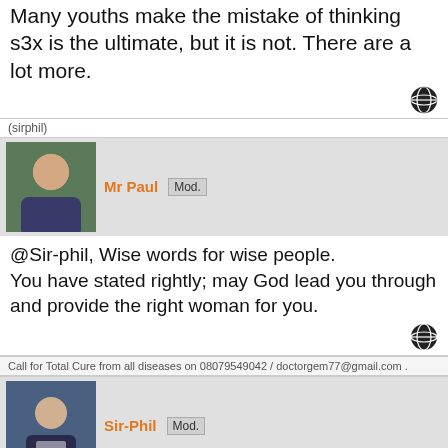Many youths make the mistake of thinking s3x is the ultimate, but it is not. There are a lot more.
(sirphil)
Mr Paul  Mod.
@Sir-phil, Wise words for wise people. You have stated rightly; may God lead you through and provide the right woman for you.
Call for Total Cure from all diseases on 08079549042 / doctorgem77@gmail.com .
Sir-Phil  Mod.
Amen!
Thanks dear friend.
(sirphil)
Spottykay  Publisher